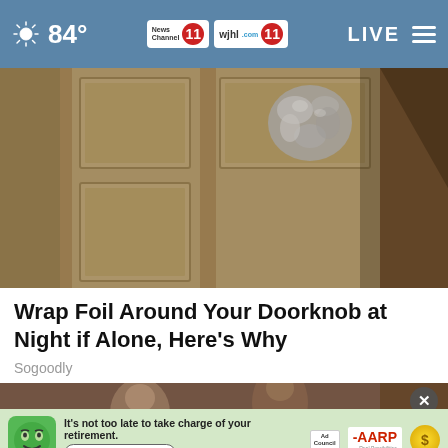84° News Channel 11 wjhl 11 LIVE
[Figure (photo): Close-up photo of a wooden door with aluminum foil wrapped around the doorknob]
Wrap Foil Around Your Doorknob at Night if Alone, Here's Why
Sogoodly
[Figure (photo): Photo of people at what appears to be a social gathering or wedding, with an AARP advertisement overlay reading: It's not too late to take charge of your retirement. Get your top 3 tips →]